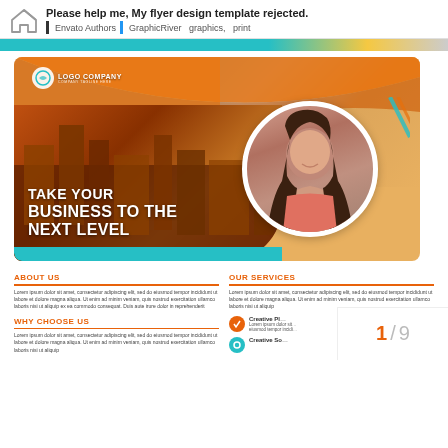Please help me, My flyer design template rejected. | Envato Authors | GraphicRiver graphics, print
[Figure (illustration): A business flyer template showing a city skyline background on the left, a circular profile photo of a smiling woman on the right, orange and teal curved design elements, a LOGO COMPANY logo in the top-left, and bold text reading TAKE YOUR BUSINESS TO THE NEXT LEVEL]
ABOUT US
Lorem ipsum dolor sit amet, consectetur adipiscing elit, sed do eiusmod tempor incididunt ut labore et dolore magna aliqua. Ut enim ad minim veniam, quis nostrud exercitation ullamco laboris nisi ut aliquip ex ea commodo consequat. Duis aute irure dolor in reprehenderit
WHY CHOOSE US
Lorem ipsum dolor sit amet, consectetur adipiscing elit, sed do eiusmod tempor incididunt ut labore et dolore magna aliqua. Ut enim ad minim veniam, quis nostrud exercitation ullamco laboris nisi ut aliquip
OUR SERVICES
Lorem ipsum dolor sit amet, consectetur adipiscing elit, sed do eiusmod tempor incididunt ut labore et dolore magna aliqua. Ut enim ad minim veniam, quis nostrud exercitation ullamco laboris nisi ut aliquip
Creative Pl... Lorem ipsum dolor sit... eiusmod tempor incidi...
Creative So...
1 / 9